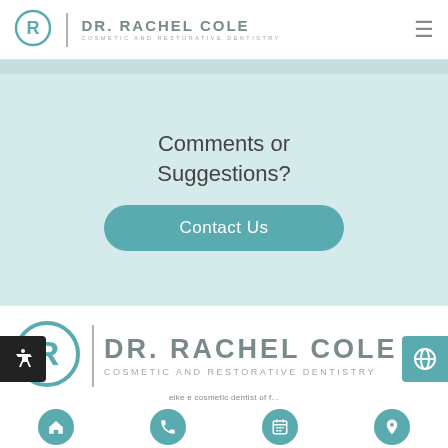DR. RACHEL COLE COSMETIC AND RESTORATIVE DENTISTRY
Comments or Suggestions?
Contact Us
[Figure (logo): Dr. Rachel Cole Cosmetic and Restorative Dentistry logo with circular R icon]
Home, Phone, Calendar, Location navigation icons